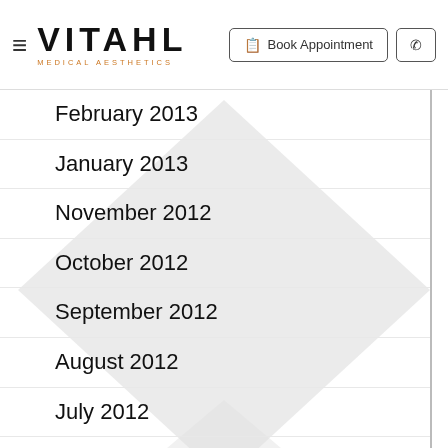VITAHL MEDICAL AESTHETICS — Book Appointment
February 2013
January 2013
November 2012
October 2012
September 2012
August 2012
July 2012
June 2012
May 2012